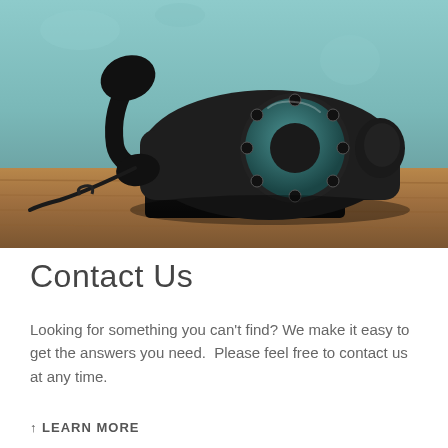[Figure (photo): Vintage black rotary telephone sitting on a wooden table against a teal/turquoise textured wall background]
Contact Us
Looking for something you can't find? We make it easy to get the answers you need.  Please feel free to contact us at any time.
↑ LEARN MORE